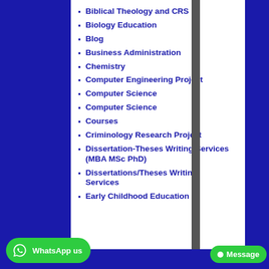Biblical Theology and CRS
Biology Education
Blog
Business Administration
Chemistry
Computer Engineering Project
Computer Science
Computer Science
Courses
Criminology Research Project
Dissertation-Theses Writing Services (MBA MSc PhD)
Dissertations/Theses Writing Services
Early Childhood Education